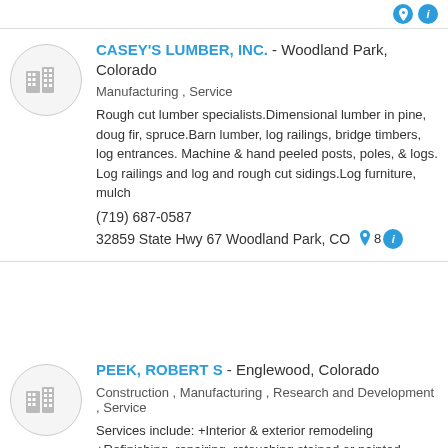CASEY'S LUMBER, INC. - Woodland Park, Colorado
Manufacturing , Service
Rough cut lumber specialists.Dimensional lumber in pine, doug fir, spruce.Barn lumber, log railings, bridge timbers, log entrances. Machine & hand peeled posts, poles, & logs. Log railings and log and rough cut sidings.Log furniture, mulch
(719) 687-0587
32859 State Hwy 67 Woodland Park, CO 80
PEEK, ROBERT S - Englewood, Colorado
Construction , Manufacturing , Research and Development , Service
Services include: +Interior & exterior remodeling +Refinishing, repairing, retouching stained or painted products or surfaces, ie., tables, chairs, benches, booths, walls, fences, buildings, etc.